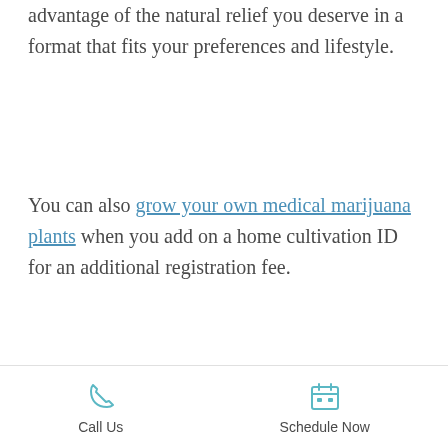advantage of the natural relief you deserve in a format that fits your preferences and lifestyle.
You can also grow your own medical marijuana plants when you add on a home cultivation ID for an additional registration fee.
Our telehealth services make the process quick and convenient, allowing you to get a marijuana evaluation from the comfort of your home in minutes. Give Missouri Marijuana Card a call at (877) 303-3117 or schedule an evaluation
Call Us | Schedule Now